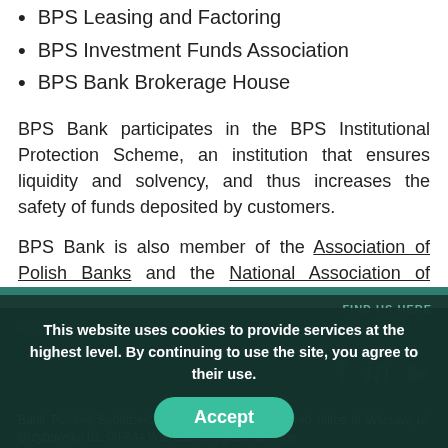BPS Leasing and Factoring
BPS Investment Funds Association
BPS Bank Brokerage House
BPS Bank participates in the BPS Institutional Protection Scheme, an institution that ensures liquidity and solvency, and thus increases the safety of funds deposited by customers.
BPS Bank is also member of the Association of Polish Banks and the National Association of Cooperative Banks.
This website uses cookies to provide services at the highest level. By continuing to use the site, you agree to their use.
Bank Polskiej Spółdzielczości S.A. with its registered office in Warsaw, ul. Grzybowska 81, 00-844 Warszawa, registered in the